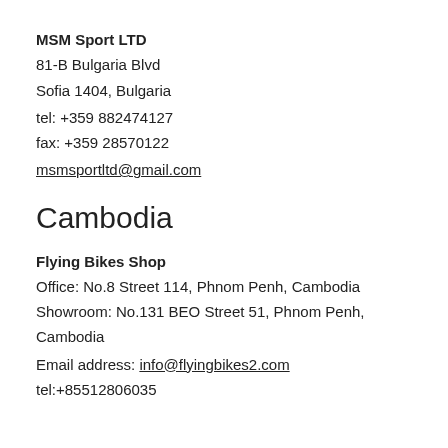MSM Sport LTD
81-B Bulgaria Blvd
Sofia 1404, Bulgaria
tel: +359 882474127
fax: +359 28570122
msmsportltd@gmail.com
Cambodia
Flying Bikes Shop
Office: No.8 Street 114, Phnom Penh, Cambodia
Showroom: No.131 BEO Street 51, Phnom Penh, Cambodia
Email address: info@flyingbikes2.com
tel:+85512806035